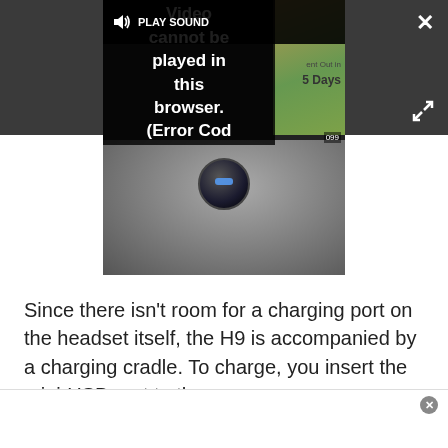[Figure (screenshot): A video player showing an error message: 'PLAY SOUND Video cannot be played in this browser. (Error Cod' overlaid on a dark background. The video shows what appears to be a charging cradle on a dark surface. There is a close button (X) in the top right and an expand button in the bottom right of the dark overlay bar.]
Since there isn't room for a charging port on the headset itself, the H9 is accompanied by a charging cradle. To charge, you insert the mini-USB port to the